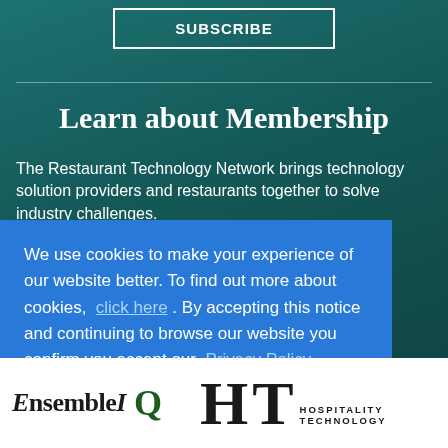SUBSCRIBE
Learn about Membership
The Restaurant Technology Network brings technology solution providers and restaurants together to solve industry challenges.
We use cookies to make your experience of our website better. To find out more about cookies, click here . By accepting this notice and continuing to browse our website you confirm you accept our Privacy Policy
OK
[Figure (logo): EnsembleIQ logo and Hospitality Technology logo at the bottom of the page]